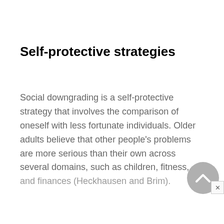Self-protective strategies
Social downgrading is a self-protective strategy that involves the comparison of oneself with less fortunate individuals. Older adults believe that other people's problems are more serious than their own across several domains, such as children, fitness, and finances (Heckhausen and Brim).